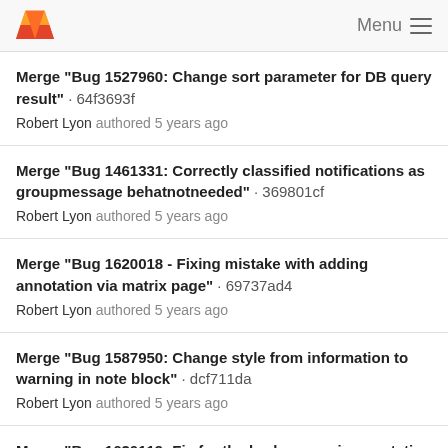GitLab · Menu
Merge "Bug 1527960: Change sort parameter for DB query result" · 64f3693f
Robert Lyon authored 5 years ago
Merge "Bug 1461331: Correctly classified notifications as groupmessage behatnotneeded" · 369801cf
Robert Lyon authored 5 years ago
Merge "Bug 1620018 - Fixing mistake with adding annotation via matrix page" · 69737ad4
Robert Lyon authored 5 years ago
Merge "Bug 1587950: Change style from information to warning in note block" · dcf711da
Robert Lyon authored 5 years ago
Merge "Bug 1620119: Fix for the brokenness in annotation feedback list" · f08f7268
Son Nguyen authored 5 years ago